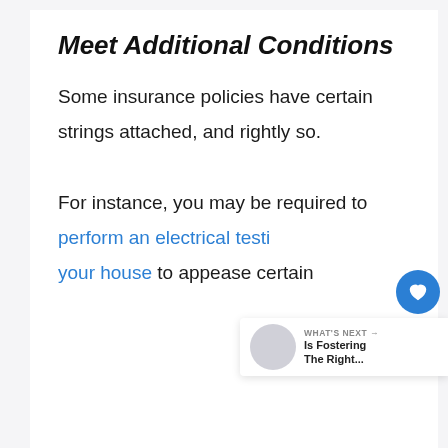Meet Additional Conditions
Some insurance policies have certain strings attached, and rightly so.
For instance, you may be required to perform an electrical test your house to appease certain